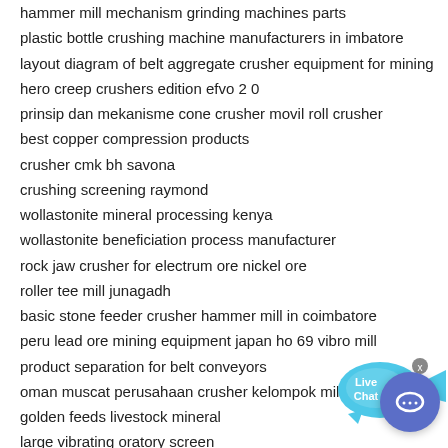hammer mill mechanism grinding machines parts
plastic bottle crushing machine manufacturers in imbatore
layout diagram of belt aggregate crusher equipment for mining
hero creep crushers edition efvo 2 0
prinsip dan mekanisme cone crusher movil roll crusher
best copper compression products
crusher cmk bh savona
crushing screening raymond
wollastonite mineral processing kenya
wollastonite beneficiation process manufacturer
rock jaw crusher for electrum ore nickel ore
roller tee mill junagadh
basic stone feeder crusher hammer mill in coimbatore
peru lead ore mining equipment japan ho 69 vibro mill
product separation for belt conveyors
oman muscat perusahaan crusher kelompok milling machin
golden feeds livestock mineral
large vibrating oratory screen
[Figure (illustration): Live Chat speech bubble widget in cyan/blue color with an 'x' close button, and a circular blue chat button below it with a speech bubble icon]